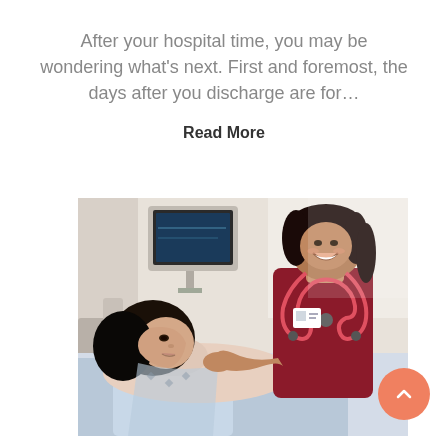After your hospital time, you may be wondering what's next. First and foremost, the days after you discharge are for...
Read More
[Figure (photo): A smiling nurse in dark red scrubs with a stethoscope leans toward a female patient lying in a hospital bed. The nurse reaches out to touch the patient's hand/shoulder. Hospital room background with medical monitor visible.]